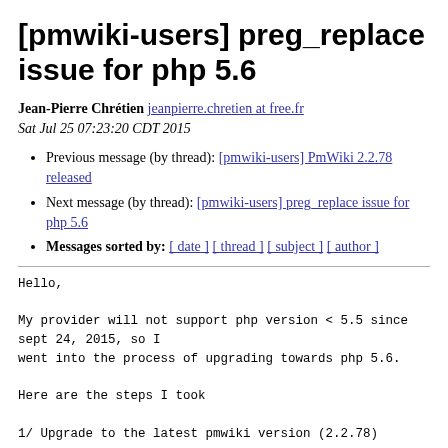[pmwiki-users] preg_replace issue for php 5.6
Jean-Pierre Chrétien jeanpierre.chretien at free.fr
Sat Jul 25 07:23:20 CDT 2015
Previous message (by thread): [pmwiki-users] PmWiki 2.2.78 released
Next message (by thread): [pmwiki-users] preg_replace issue for php 5.6
Messages sorted by: [ date ] [ thread ] [ subject ] [ author ]
Hello,

My provider will not support php version < 5.5 since sept 24, 2015, so I
went into the process of upgrading towards php 5.6.

Here are the steps I took

1/ Upgrade to the latest pmwiki version (2.2.78)

2/ Turn on php 5.6 on the provider server